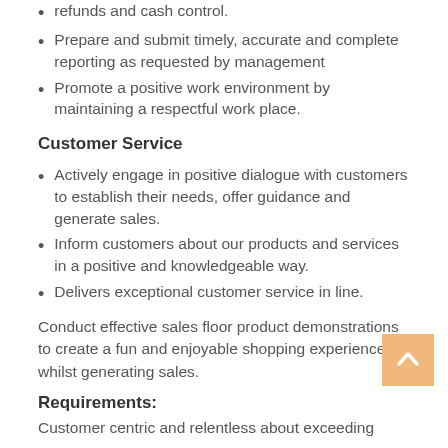refunds and cash control.
Prepare and submit timely, accurate and complete reporting as requested by management
Promote a positive work environment by maintaining a respectful work place.
Customer Service
Actively engage in positive dialogue with customers to establish their needs, offer guidance and generate sales.
Inform customers about our products and services in a positive and knowledgeable way.
Delivers exceptional customer service in line.
Conduct effective sales floor product demonstrations to create a fun and enjoyable shopping experience whilst generating sales.
Requirements:
Customer centric and relentless about exceeding